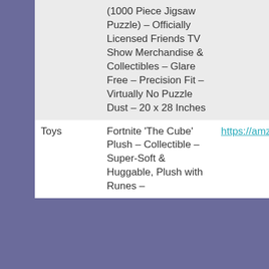|  | (1000 Piece Jigsaw Puzzle) – Officially Licensed Friends TV Show Merchandise & Collectibles – Glare Free – Precision Fit – Virtually No Puzzle Dust – 20 x 28 Inches |  |
| Toys | Fortnite 'The Cube' Plush – Collectible – Super-Soft & Huggable, Plush with Runes – | https://amzn.to/38dUsM1 |